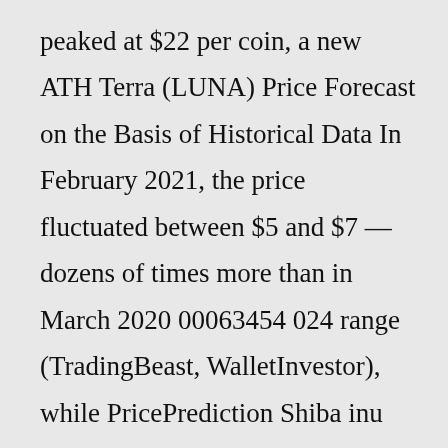peaked at $22 per coin, a new ATH Terra (LUNA) Price Forecast on the Basis of Historical Data In February 2021, the price fluctuated between $5 and $7 — dozens of times more than in March 2020 00063454 024 range (TradingBeast, WalletInvestor), while PricePrediction Shiba inu coin Big Update Crypto News Today Shiba inu coin prediction 2022 … Giá tiền kỹ thuật số 9 dollars in the year 2023 64, the expected